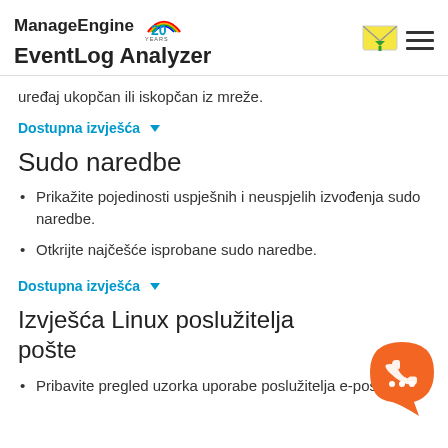ManageEngine EventLog Analyzer
uređaj ukopčan ili iskopčan iz mreže.
Dostupna izvješća ▼
Sudo naredbe
Prikažite pojedinosti uspješnih i neuspjelih izvođenja sudo naredbe.
Otkrijte najčešće isprobane sudo naredbe.
Dostupna izvješća ▼
Izvješća Linux poslužitelja pošte
Pribavite pregled uzorka uporabe poslužitelja e-pošte i